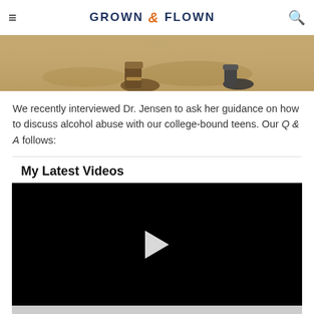GROWN & FLOWN
[Figure (photo): Close-up photo of feet/boots on a dirt/sandy ground, partially cropped]
We recently interviewed Dr. Jensen to ask her guidance on how to discuss alcohol abuse with our college-bound teens. Our Q & A follows:
My Latest Videos
[Figure (screenshot): Video player with black background and white play button triangle, with grey bar at bottom]